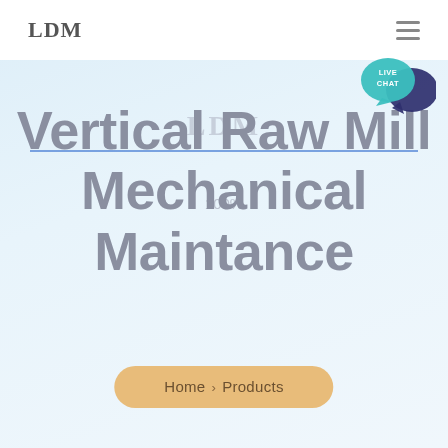LDM
Vertical Raw Mill Mechanical Maintance
LDM
100%
[Figure (other): Live Chat speech bubble icon in teal/blue with dark navy chat bubble overlay, labeled LIVE CHAT]
Home > Products